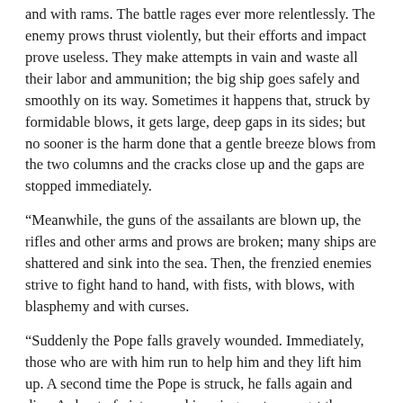and with rams. The battle rages ever more relentlessly. The enemy prows thrust violently, but their efforts and impact prove useless. They make attempts in vain and waste all their labor and ammunition; the big ship goes safely and smoothly on its way. Sometimes it happens that, struck by formidable blows, it gets large, deep gaps in its sides; but no sooner is the harm done that a gentle breeze blows from the two columns and the cracks close up and the gaps are stopped immediately.
“Meanwhile, the guns of the assailants are blown up, the rifles and other arms and prows are broken; many ships are shattered and sink into the sea. Then, the frenzied enemies strive to fight hand to hand, with fists, with blows, with blasphemy and with curses.
“Suddenly the Pope falls gravely wounded. Immediately, those who are with him run to help him and they lift him up. A second time the Pope is struck, he falls again and dies. A shout of victory and joy rings out amongst the enemies; from their ships an unspeakable mockery arises.
“But hardly is the Pontiff dead than another takes his place. The